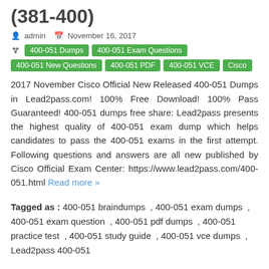(381-400)
admin   November 16, 2017
400-051 Dumps   400-051 Exam Questions   400-051 New Questions   400-051 PDF   400-051 VCE   Cisco
2017 November Cisco Official New Released 400-051 Dumps in Lead2pass.com! 100% Free Download! 100% Pass Guaranteed! 400-051 dumps free share: Lead2pass presents the highest quality of 400-051 exam dump which helps candidates to pass the 400-051 exams in the first attempt. Following questions and answers are all new published by Cisco Official Exam Center: https://www.lead2pass.com/400-051.html Read more »
Tagged as : 400-051 braindumps , 400-051 exam dumps , 400-051 exam question , 400-051 pdf dumps , 400-051 practice test , 400-051 study guide , 400-051 vce dumps , Lead2pass 400-051